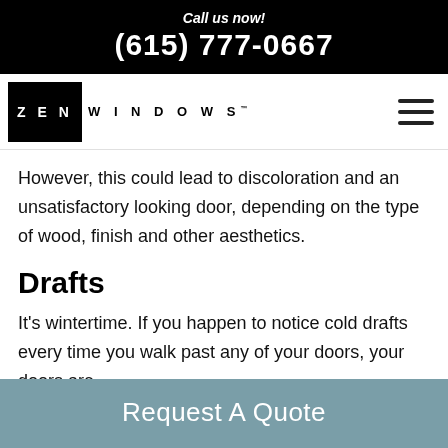Call us now! (615) 777-0667
[Figure (logo): Zen Windows logo with black square containing ZEN and WINDOWS text next to it, plus hamburger menu icon]
However, this could lead to discoloration and an unsatisfactory looking door, depending on the type of wood, finish and other aesthetics.
Drafts
It's wintertime. If you happen to notice cold drafts every time you walk past any of your doors, your doors are
Request A Quote